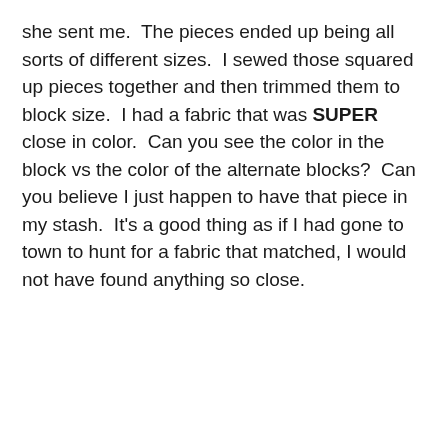she sent me.  The pieces ended up being all sorts of different sizes.  I sewed those squared up pieces together and then trimmed them to block size.  I had a fabric that was SUPER close in color.  Can you see the color in the block vs the color of the alternate blocks?  Can you believe I just happen to have that piece in my stash.  It's a good thing as if I had gone to town to hunt for a fabric that matched, I would not have found anything so close.